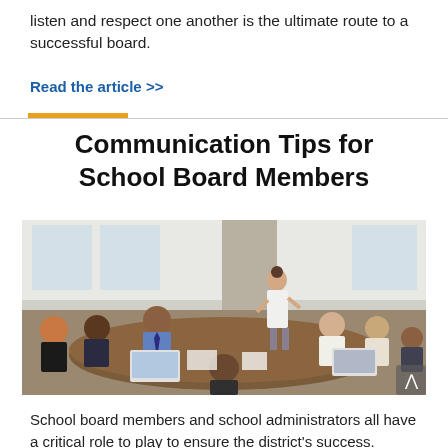listen and respect one another is the ultimate route to a successful board.
Read the article >>
Communication Tips for School Board Members
[Figure (photo): Group of school board members and administrators sitting around a conference table during a meeting, with a woman standing and presenting at the head of the table.]
School board members and school administrators all have a critical role to play to ensure the district's success. When we